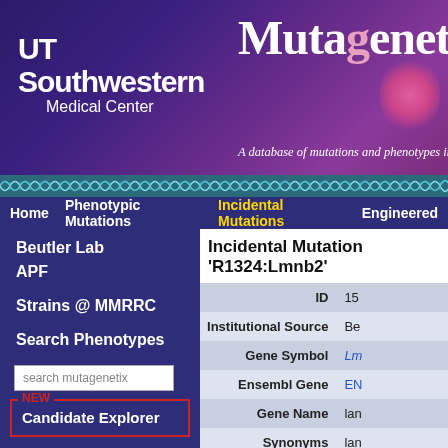[Figure (screenshot): UT Southwestern Medical Center logo in white text on purple background]
Mutagenetix
A database of mutations and phenotypes induced b
Home | Phenotypic Mutations | Incidental Mutations | Engineered
Beutler Lab
APF
Strains @ MMRRC
Search Phenotypes
search mutagenetix
NEW
Candidate Explorer
Staff Login
Download
Incidental Mutation 'R1324:Lmnb2'
| Field | Value |
| --- | --- |
| ID | 15 |
| Institutional Source | Be |
| Gene Symbol | Lm |
| Ensembl Gene | EN |
| Gene Name | lan |
| Synonyms | lan |
| MMRRC Submission | 03 |
| Accession Numbers |  |
| Is this an essential gene? | Es |
| Stock # | R1 |